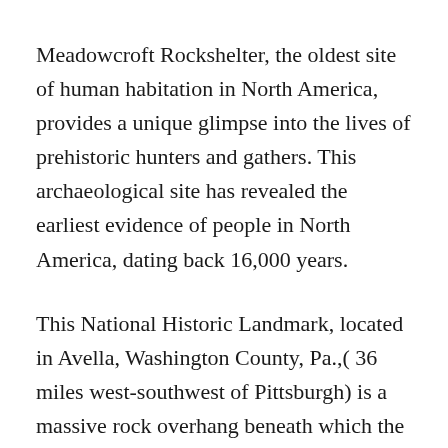Meadowcroft Rockshelter, the oldest site of human habitation in North America, provides a unique glimpse into the lives of prehistoric hunters and gathers. This archaeological site has revealed the earliest evidence of people in North America, dating back 16,000 years.
This National Historic Landmark, located in Avella, Washington County, Pa.,( 36 miles west-southwest of Pittsburgh) is a massive rock overhang beneath which the earliest known inhabitants of the Upper Ohio Valley camped 16,000 years ago. Subsequently, the site was revisited by Native Americans and, ultimately,